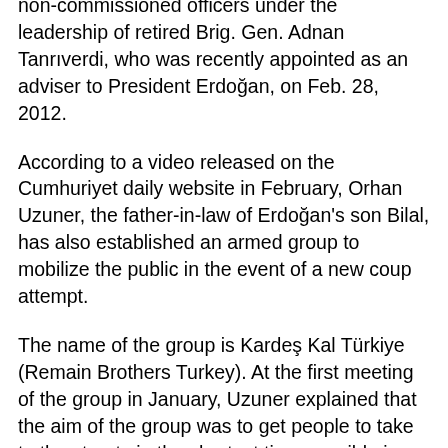non-commissioned officers under the leadership of retired Brig. Gen. Adnan Tanrıverdi, who was recently appointed as an adviser to President Erdoğan, on Feb. 28, 2012.
According to a video released on the Cumhuriyet daily website in February, Orhan Uzuner, the father-in-law of Erdoğan's son Bilal, has also established an armed group to mobilize the public in the event of a new coup attempt.
The name of the group is Kardeş Kal Türkiye (Remain Brothers Turkey). At the first meeting of the group in January, Uzuner explained that the aim of the group was to get people to take to the streets in the shortest time possible in the event of a coup attempt.
“Our smallest device is a whistle. There is a megaphone in my car. There are also guns that we